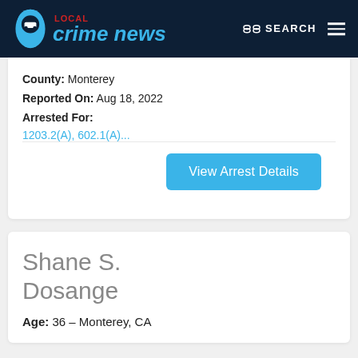Local Crime News — SEARCH
County: Monterey
Reported On: Aug 18, 2022
Arrested For:
1203.2(A), 602.1(A)...
View Arrest Details
Shane S. Dosange
Age: 36 – Monterey, CA